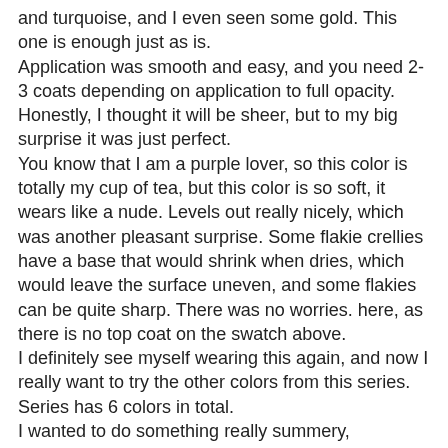and turquoise, and I even seen some gold. This one is enough just as is. Application was smooth and easy, and you need 2-3 coats depending on application to full opacity. Honestly, I thought it will be sheer, but to my big surprise it was just perfect. You know that I am a purple lover, so this color is totally my cup of tea, but this color is so soft, it wears like a nude. Levels out really nicely, which was another pleasant surprise. Some flakie crellies have a base that would shrink when dries, which would leave the surface uneven, and some flakies can be quite sharp. There was no worries. here, as there is no top coat on the swatch above. I definitely see myself wearing this again, and now I really want to try the other colors from this series. Series has 6 colors in total. I wanted to do something really summery, considering the tropical heat wave, and it seems that I could not escape the tropical theme. Images are on Dixie Plates - Tropical Paradise. Stamping polishes are from all over the place, but here I did used the Born Pretty - White, item #48430 under the hot pink polish so my flamingos can stand out. I purchased this polish myself, but I